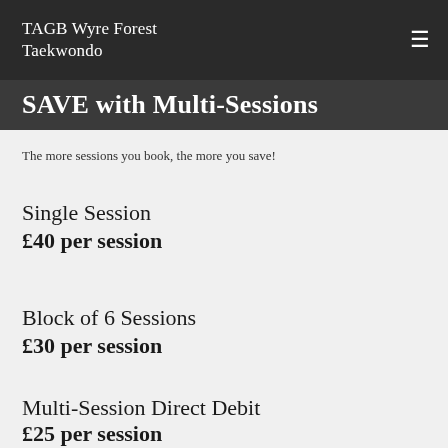TAGB Wyre Forest Taekwondo
SAVE with Multi-Sessions
The more sessions you book, the more you save!
Single Session
£40 per session
Block of 6 Sessions
£30 per session
Multi-Session Direct Debit
£25 per session